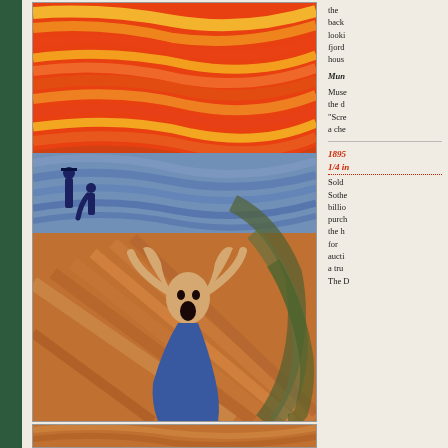[Figure (illustration): Edvard Munch's The Scream (1895 pastel version) showing the iconic screaming figure on a bridge with turbulent orange and red sky, fjord landscape behind, and two figures in the background]
[Figure (illustration): Lower portion of another version of Edvard Munch's The Scream showing wavy orange and tan landscape/water with no figures visible]
the background, looking fjord house Mun Museum the c "Scre a che
1895 1/4 in Sold Sothe billio purch the h for aucti a tru The D